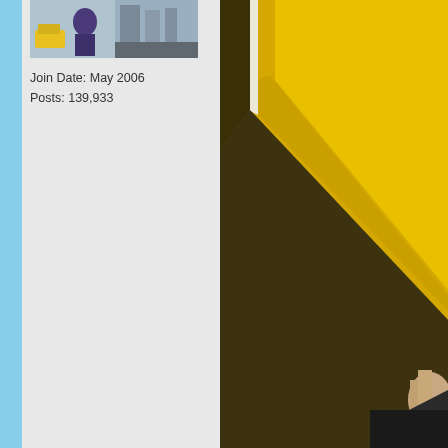[Figure (photo): Forum user avatar showing a person in a purple outfit on a city street]
Join Date: May 2006
Posts: 139,933
[Figure (photo): Close-up photo with a large yellow/gold triangular geometric shape and a person's hand visible in the lower right, dark olive/gold background]